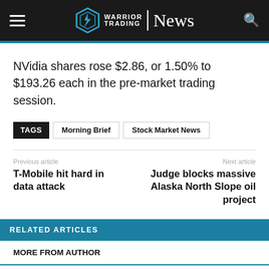Warrior Trading News
NVidia shares rose $2.86, or 1.50% to $193.26 each in the pre-market trading session.
TAGS  Morning Brief  Stock Market News
Previous article
T-Mobile hit hard in data attack
Next article
Judge blocks massive Alaska North Slope oil project
RELATED ARTICLES
MORE FROM AUTHOR